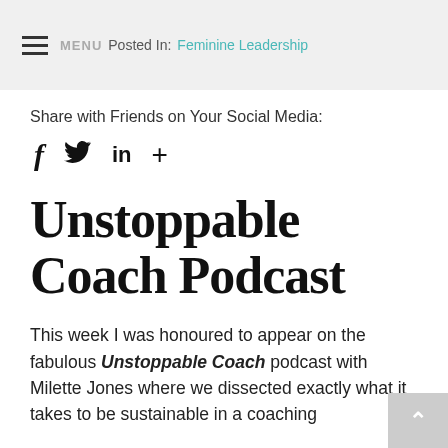MENU  Posted In: Feminine Leadership
Share with Friends on Your Social Media:
f  🐦  in  +
Unstoppable Coach Podcast
This week I was honoured to appear on the fabulous Unstoppable Coach podcast with Milette Jones where we dissected exactly what it takes to be sustainable in a coaching